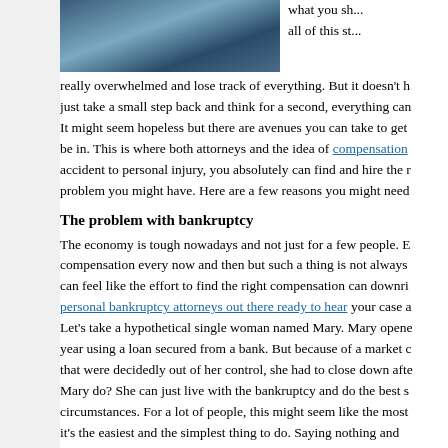[Figure (photo): Dark photo of hands or objects, bluish-gray tones, appears to be part of a larger image cropped at top]
what you sh... all of this st... really overwhelmed and lose track of everything. But it doesn't h... just take a small step back and think for a second, everything can... It might seem hopeless but there are avenues you can take to get... be in. This is where both attorneys and the idea of compensation... accident to personal injury, you absolutely can find and hire the r... problem you might have. Here are a few reasons you might need...
The problem with bankruptcy
The economy is tough nowadays and not just for a few people. E... compensation every now and then but such a thing is not always... can feel like the effort to find the right compensation can downri... personal bankruptcy attorneys out there ready to hear your case a... Let's take a hypothetical single woman named Mary. Mary opene... year using a loan secured from a bank. But because of a market c... that were decidedly out of her control, she had to close down afte... Mary do? She can just live with the bankruptcy and do the best s... circumstances. For a lot of people, this might seem like the most... it's the easiest and the simplest thing to do. Saying nothing and ...